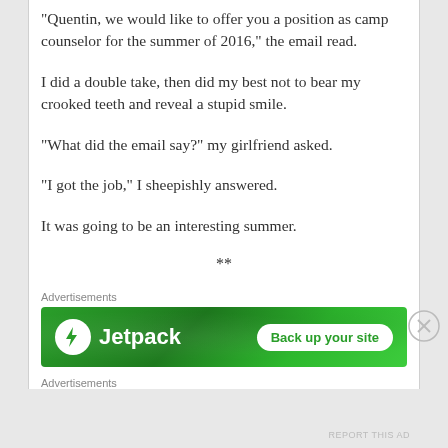“Quentin, we would like to offer you a position as camp counselor for the summer of 2016,” the email read.
I did a double take, then did my best not to bear my crooked teeth and reveal a stupid smile.
“What did the email say?” my girlfriend asked.
“I got the job,” I sheepishly answered.
It was going to be an interesting summer.
**
Advertisements
[Figure (other): Jetpack advertisement banner with green background, Jetpack logo and lightning bolt icon on left, 'Back up your site' button on right]
Advertisements